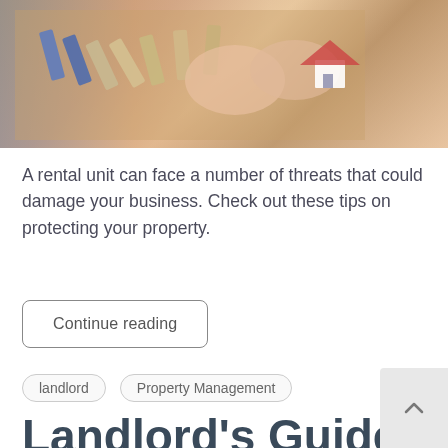[Figure (photo): Hands playing with wooden domino blocks and a small house model on a wooden table surface, with colorful toy blocks in the background]
A rental unit can face a number of threats that could damage your business. Check out these tips on protecting your property.
Continue reading
landlord
Property Management
Landlord's Guide to Security